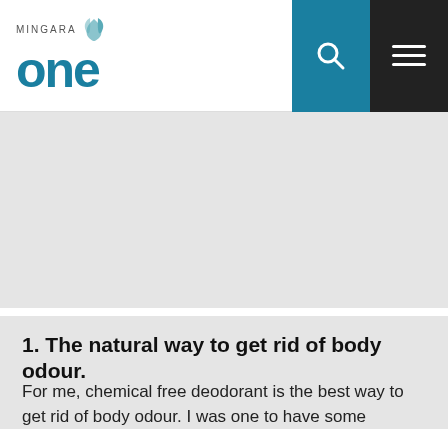MINGARA one
[Figure (other): Large grey placeholder image area beneath the header]
1. The natural way to get rid of body odour.
For me, chemical free deodorant is the best way to get rid of body odour. I was one to have some ...